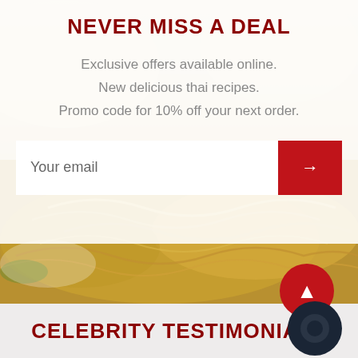NEVER MISS A DEAL
Exclusive offers available online.
New delicious thai recipes.
Promo code for 10% off your next order.
[Figure (photo): Background food photo showing Thai fried rice or similar dish, with golden brown noodles/rice visible in the lower half and a blurred creamy background on top.]
CELEBRITY TESTIMONIALS